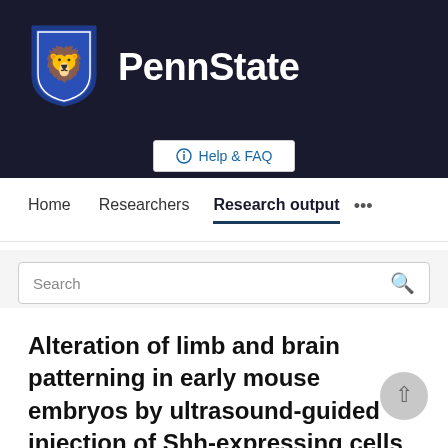[Figure (logo): Penn State University logo with lion shield and PennState text on dark background]
Help & FAQ
Home   Researchers   Research output   ...
Search
Alteration of limb and brain patterning in early mouse embryos by ultrasound-guided injection of Shh-expressing cells